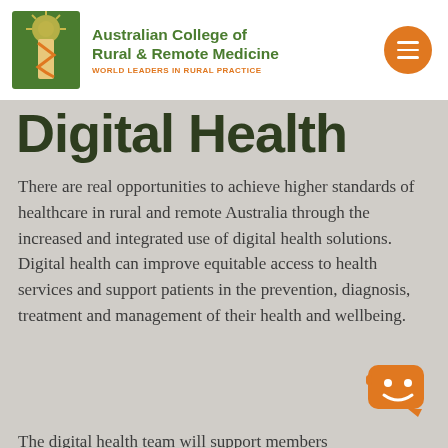Australian College of Rural & Remote Medicine — WORLD LEADERS IN RURAL PRACTICE
Digital Health
There are real opportunities to achieve higher standards of healthcare in rural and remote Australia through the increased and integrated use of digital health solutions. Digital health can improve equitable access to health services and support patients in the prevention, diagnosis, treatment and management of their health and wellbeing.
The digital health team will support members